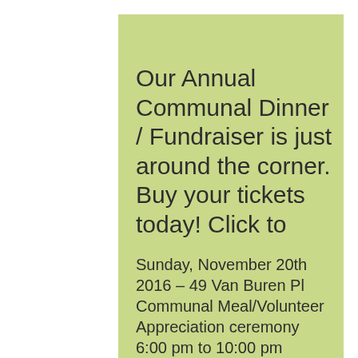Our Annual Communal Dinner / Fundraiser is just around the corner. Buy your tickets today! Click to
Sunday, November 20th 2016 – 49 Van Buren Pl Communal Meal/Volunteer Appreciation ceremony 6:00 pm to 10:00 pm Suggested Donation: $50 for Dinner Only, $30 for Wine Bar Enjoy a home grown meal by our very own Farmer